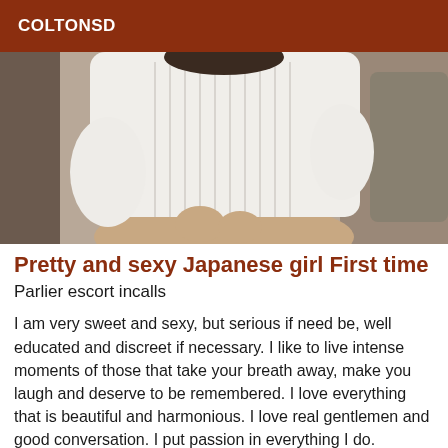COLTONSD
[Figure (photo): Photo of a person wearing a white ribbed knit sweater, seated on a brown couch, photographed from behind/side angle.]
Pretty and sexy Japanese girl First time
Parlier escort incalls
I am very sweet and sexy, but serious if need be, well educated and discreet if necessary. I like to live intense moments of those that take your breath away, make you laugh and deserve to be remembered. I love everything that is beautiful and harmonious. I love real gentlemen and good conversation. I put passion in everything I do.